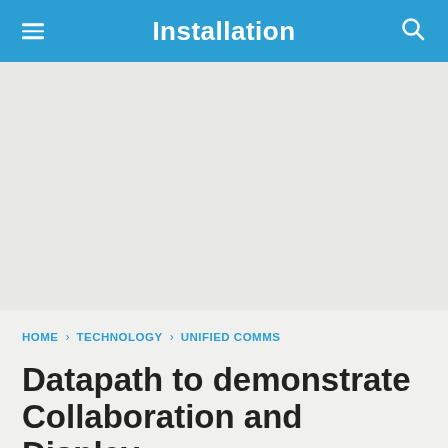Installation
[Figure (other): Advertisement / blank placeholder area with light grey background]
HOME > TECHNOLOGY > UNIFIED COMMS
Datapath to demonstrate Collaboration and Display